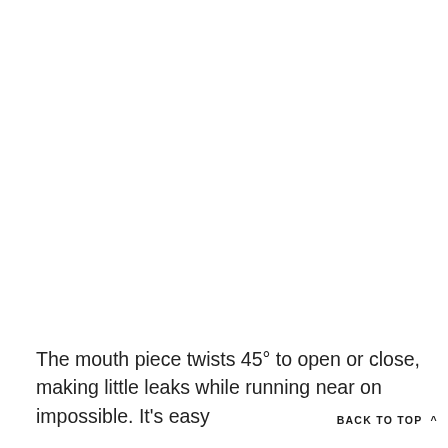The mouth piece twists 45° to open or close, making little leaks while running near on impossible. It's easy
BACK TO TOP ^